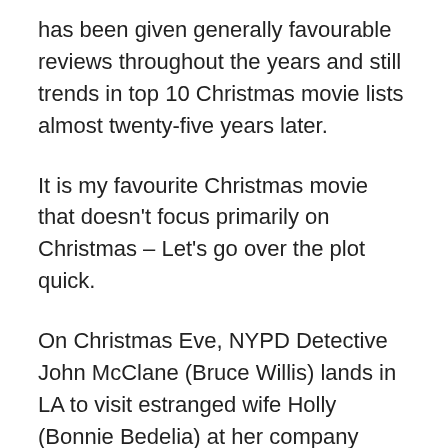has been given generally favourable reviews throughout the years and still trends in top 10 Christmas movie lists almost twenty-five years later.
It is my favourite Christmas movie that doesn't focus primarily on Christmas – Let's go over the plot quick.
On Christmas Eve, NYPD Detective John McClane (Bruce Willis) lands in LA to visit estranged wife Holly (Bonnie Bedelia) at her company Christmas party. McClane is driven to the party by an airport limousine driver, who waits for him in the basement. While McClane changes clothes, the party is overrun by